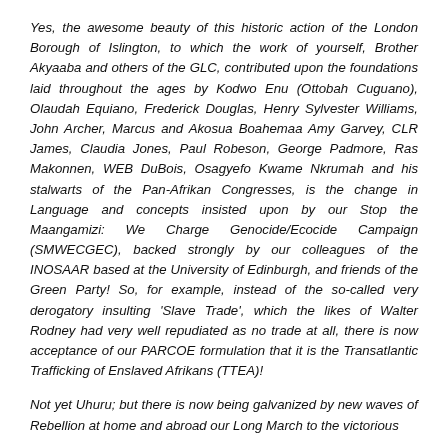Yes, the awesome beauty of this historic action of the London Borough of Islington, to which the work of yourself, Brother Akyaaba and others of the GLC, contributed upon the foundations laid throughout the ages by Kodwo Enu (Ottobah Cuguano), Olaudah Equiano, Frederick Douglas, Henry Sylvester Williams, John Archer, Marcus and Akosua Boahemaa Amy Garvey, CLR James, Claudia Jones, Paul Robeson, George Padmore, Ras Makonnen, WEB DuBois, Osagyefo Kwame Nkrumah and his stalwarts of the Pan-Afrikan Congresses, is the change in Language and concepts insisted upon by our Stop the Maangamizi: We Charge Genocide/Ecocide Campaign (SMWECGEC), backed strongly by our colleagues of the INOSAAR based at the University of Edinburgh, and friends of the Green Party! So, for example, instead of the so-called very derogatory insulting 'Slave Trade', which the likes of Walter Rodney had very well repudiated as no trade at all, there is now acceptance of our PARCOE formulation that it is the Transatlantic Trafficking of Enslaved Afrikans (TTEA)!
Not yet Uhuru; but there is now being galvanized by new waves of Rebellion at home and abroad our Long March to the victorious